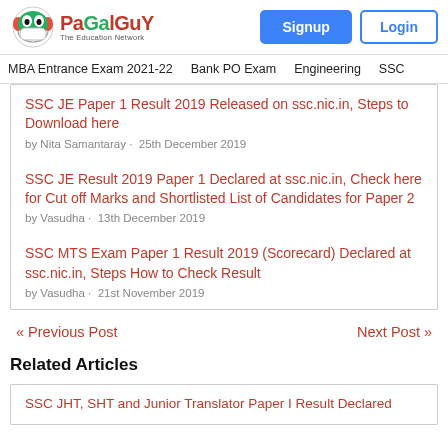PaGaLGuY - The Education Network | Signup | Login
MBA Entrance Exam 2021-22 | Bank PO Exam | Engineering | SSC
SSC JE Paper 1 Result 2019 Released on ssc.nic.in, Steps to Download here
by Nita Samantaray · 25th December 2019
SSC JE Result 2019 Paper 1 Declared at ssc.nic.in, Check here for Cut off Marks and Shortlisted List of Candidates for Paper 2
by Vasudha · 13th December 2019
SSC MTS Exam Paper 1 Result 2019 (Scorecard) Declared at ssc.nic.in, Steps How to Check Result
by Vasudha · 21st November 2019
« Previous Post
Next Post »
Related Articles
SSC JHT, SHT and Junior Translator Paper I Result Declared